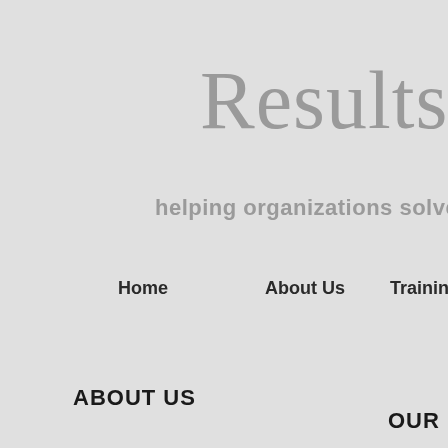Results M
helping organizations solve proble…
Home      About Us      Trainings
ABOUT US
OUR